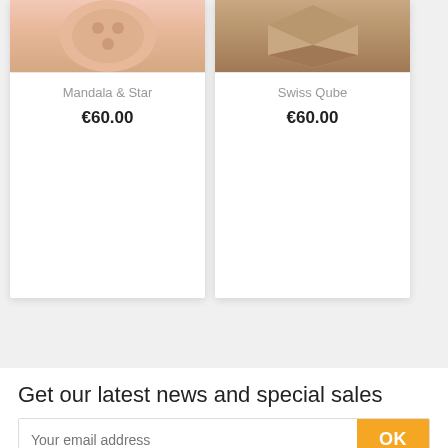[Figure (photo): Product card showing Mandala & Star item with copper/rose-gold colored circular puzzle or decorative item, price €60.00]
Mandala & Star
€60.00
[Figure (photo): Product card showing Swiss Qube item with wooden cube puzzle or decorative item, price €60.00]
Swiss Qube
€60.00
Get our latest news and special sales
Your email address
OK
You may unsubscribe at any moment. For that purpose, please find our contact info in the legal notice.